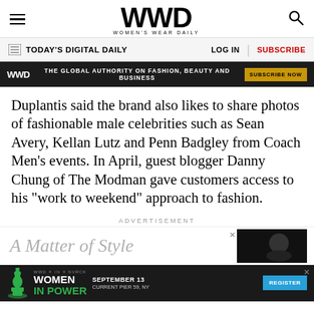WWD WOMEN'S WEAR DAILY
TODAY'S DIGITAL DAILY | LOG IN | SUBSCRIBE
[Figure (other): WWD advertisement banner: dark background with WWD logo, text 'THE GLOBAL AUTHORITY ON FASHION, BEAUTY AND BUSINESS', and a gold 'SUBSCRIBE NOW' button]
Duplantis said the brand also likes to share photos of fashionable male celebrities such as Sean Avery, Kellan Lutz and Penn Badgley from Coach Men’s events. In April, guest blogger Danny Chung of The Modman gave customers access to his “work to weekend” approach to fashion.
ADVERTISEMENT
[Figure (other): Advertisement: 'A Matter of Style' with a dark photographic image on the right]
[Figure (other): WWD x IN x NVRCK Women in Power event banner: chess queen piece, 'WOMEN IN POWER', SEPTEMBER 13, CURRENT PIER 59, NY, REGISTER button]